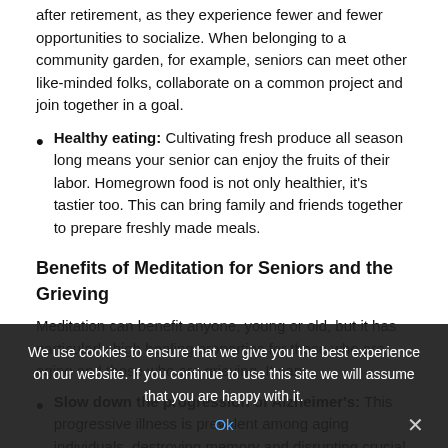after retirement, as they experience fewer and fewer opportunities to socialize. When belonging to a community garden, for example, seniors can meet other like-minded folks, collaborate on a common project and join together in a goal.
Healthy eating: Cultivating fresh produce all season long means your senior can enjoy the fruits of their labor. Homegrown food is not only healthier, it's tastier too. This can bring family and friends together to prepare freshly made meals.
Benefits of Meditation for Seniors and the Grieving
Meditation can benefit anyone, young or old, but it has particularly high healing properties for those who are aging and those who are grieving. It can:
Slow down the progression of Alzheimer's: This progressive illness is prevalent among aging individuals, destroying memory and disrupting crucial mental functions. Recent studies have found that...
[cookie overlay] We use cookies to ensure that we give you the best experience on our website. If you continue to use this site we will assume that you are happy with it.
Enhance digestion: Quiet, controlled breathing is part of...